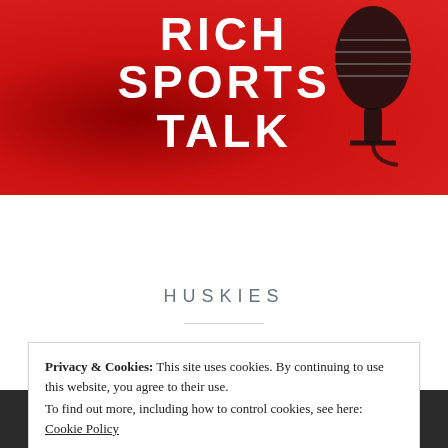[Figure (logo): Rich Sports Talk website header banner with red crumpled paper background, white bold logo text reading RICH SPORTS TALK, and a black microphone illustration on the right side]
[Figure (screenshot): Dark navigation bar with hamburger menu icon on left and search icon on right]
HUSKIES
Privacy & Cookies: This site uses cookies. By continuing to use this website, you agree to their use.
To find out more, including how to control cookies, see here: Cookie Policy
Close and accept